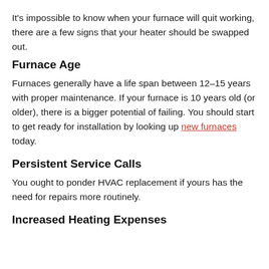It's impossible to know when your furnace will quit working, there are a few signs that your heater should be swapped out.
Furnace Age
Furnaces generally have a life span between 12–15 years with proper maintenance. If your furnace is 10 years old (or older), there is a bigger potential of failing. You should start to get ready for installation by looking up new furnaces today.
Persistent Service Calls
You ought to ponder HVAC replacement if yours has the need for repairs more routinely.
Increased Heating Expenses